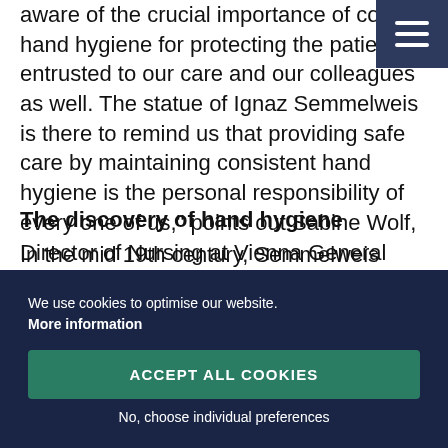aware of the crucial importance of correct hand hygiene for protecting the patients entrusted to our care and our colleagues as well. The statue of Ignaz Semmelweis is there to remind us that providing safe care by maintaining consistent hand hygiene is the personal responsibility of every one of us," points out Sabine Wolf, Director of Nursing at Vienna General Hospital.
The discovery of hand hygiene
In the mid 19th century, Semmelweis observed that the...
We use cookies to optimise our website. More information
ACCEPT ALL COOKIES
No, choose individual preferences